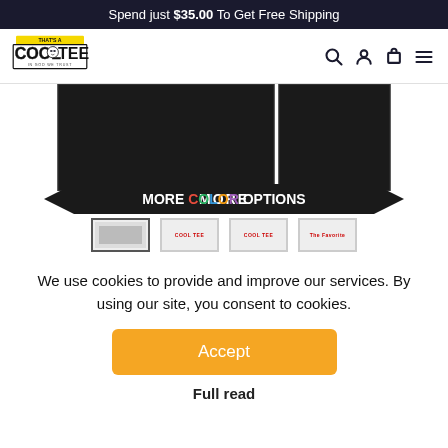Spend just $35.00 To Get Free Shipping
[Figure (logo): That's A Cool Tee logo with 'IN GOD WE TRUST' tagline, cartoon character, yellow and black design]
[Figure (photo): Product photos showing dark/black t-shirts with MORE COLOR OPTIONS banner overlay]
[Figure (photo): Thumbnail row showing four product color variant thumbnails]
We use cookies to provide and improve our services. By using our site, you consent to cookies.
Accept
Full read